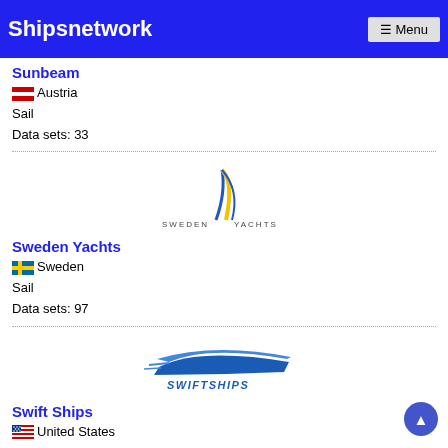Shipsnetwork ☰ Menu
Sunbeam
Austria
Sail
Data sets: 33
[Figure (logo): Sweden Yachts logo — stylized blue and yellow sail with 'SWEDEN YACHTS' text]
Sweden Yachts
Sweden
Sail
Data sets: 97
[Figure (logo): Swiftships logo — blue stylized speedboat with 'SWIFTSHIPS' text]
Swift Ships
United States
Data sets: 10
[Figure (logo): Tartan logo — bold black 'TARTAN' text with shield emblem]